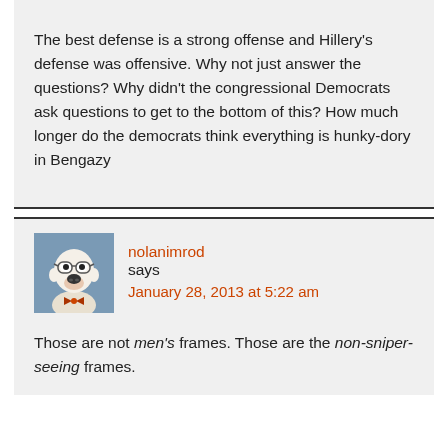The best defense is a strong offense and Hillery's defense was offensive. Why not just answer the questions? Why didn't the congressional Democrats ask questions to get to the bottom of this? How much longer do the democrats think everything is hunky-dory in Bengazy
nolanimrod says January 28, 2013 at 5:22 am
Those are not men's frames. Those are the non-sniper-seeing frames.